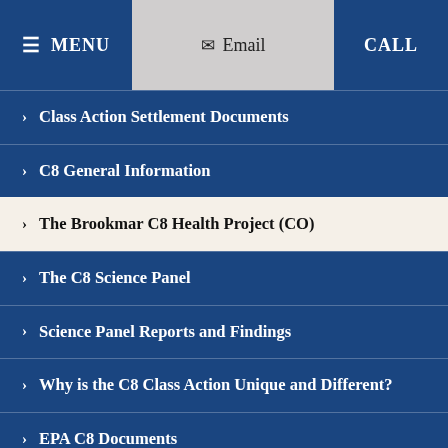MENU  Email  CALL
> Class Action Settlement Documents
> C8 General Information
> The Brookmar C8 Health Project (CO)
> The C8 Science Panel
> Science Panel Reports and Findings
> Why is the C8 Class Action Unique and Different?
> EPA C8 Documents
> C-8 History of Environmental Contamination and Government Enforcement